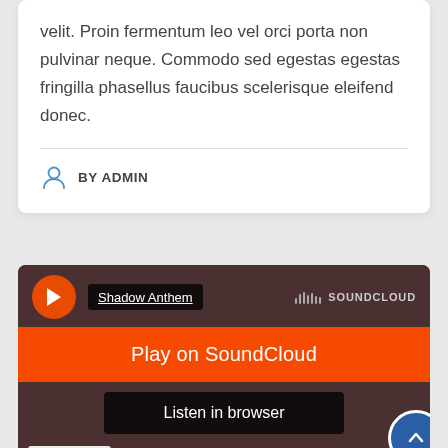velit. Proin fermentum leo vel orci porta non pulvinar neque. Commodo sed egestas egestas fringilla phasellus faucibus scelerisque eleifend donec.
BY ADMIN
[Figure (screenshot): SoundCloud embedded player widget showing 'Shadow Anthem' track with orange 'Play on SoundCloud' button, 'Listen in browser' button, and Privacy policy link. A blue scroll-to-top button is visible at bottom right.]